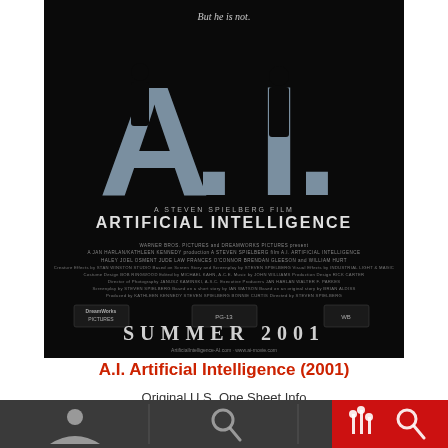[Figure (photo): Movie poster for A.I. Artificial Intelligence (2001). Black background with large silver A.I. letters containing silhouettes of two people (child and adult). Text reads 'But he is not.' at top. Below the logo: 'A STEVEN SPIELBERG FILM / ARTIFICIAL INTELLIGENCE'. Credits listing Warner Bros. Pictures and DreamWorks Pictures, cast including Haley Joel Osment, Jude Law, Frances O'Connor, Brendan Gleeson, William Hurt. SUMMER 2001 at bottom.]
A.I. Artificial Intelligence (2001)
[Figure (screenshot): Dark navigation bar at bottom with person icon, search icon, and a red box with a filter/equalizer icon and search icon.]